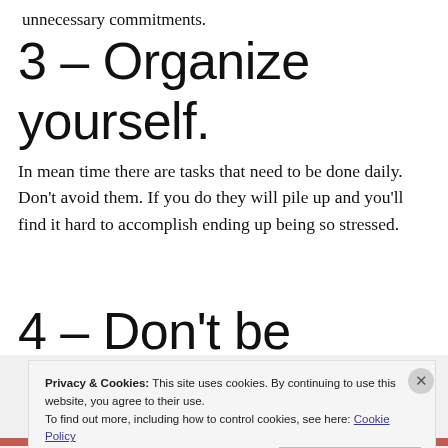unnecessary commitments.
3 – Organize yourself.
In mean time there are tasks that need to be done daily. Don't avoid them. If you do they will pile up and you'll find it hard to accomplish ending up being so stressed.
4 – Don't be
Privacy & Cookies: This site uses cookies. By continuing to use this website, you agree to their use.
To find out more, including how to control cookies, see here: Cookie Policy
Close and accept